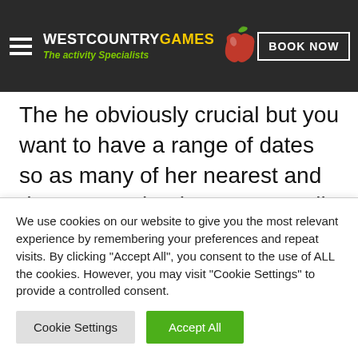West Country Games – The activity Specialists | BOOK NOW
The he obviously crucial but you want to have a range of dates so as many of her nearest and dearest can be there too. You'll need to make sure that she gives you a full list of email addresses and phone numbers of the people she wants to invite.

If there are some key people it's a good idea to contact them first to check that they will
We use cookies on our website to give you the most relevant experience by remembering your preferences and repeat visits. By clicking "Accept All", you consent to the use of ALL the cookies. However, you may visit "Cookie Settings" to provide a controlled consent.
Cookie Settings | Accept All